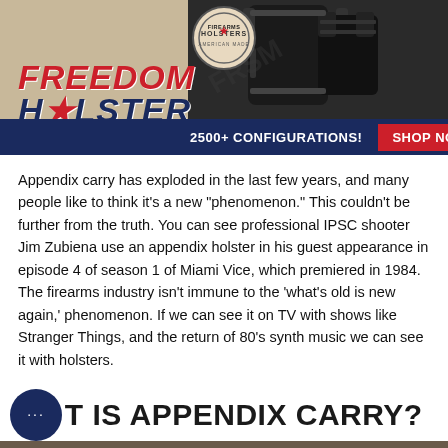[Figure (photo): Freedom Holster advertisement banner showing a black holster rig, logo, red and navy text reading FREEDOM HOLSTER, blue bar with '2500+ CONFIGURATIONS!' and a red SHOP NOW button]
Appendix carry has exploded in the last few years, and many people like to think it’s a new “phenomenon.” This couldn’t be further from the truth. You can see professional IPSC shooter Jim Zubiena use an appendix holster in his guest appearance in episode 4 of season 1 of Miami Vice, which premiered in 1984. The firearms industry isn’t immune to the ‘what’s old is new again,’ phenomenon. If we can see it on TV with shows like Stranger Things, and the return of 80’s synth music we can see it with holsters.
WHAT IS APPENDIX CARRY?
[Figure (photo): Bottom photo strip showing a blurred outdoor scene]